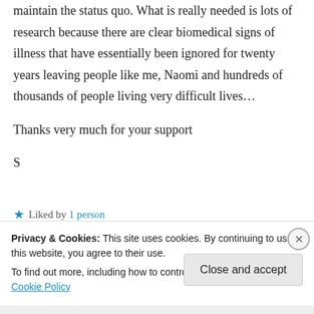the others which do not really help at all and maintain the status quo. What is really needed is lots of research because there are clear biomedical signs of illness that have essentially been ignored for twenty years leaving people like me, Naomi and hundreds of thousands of people living very difficult lives…
Thanks very much for your support
S
★ Liked by 1 person
Privacy & Cookies: This site uses cookies. By continuing to use this website, you agree to their use.
To find out more, including how to control cookies, see here: Cookie Policy
Close and accept